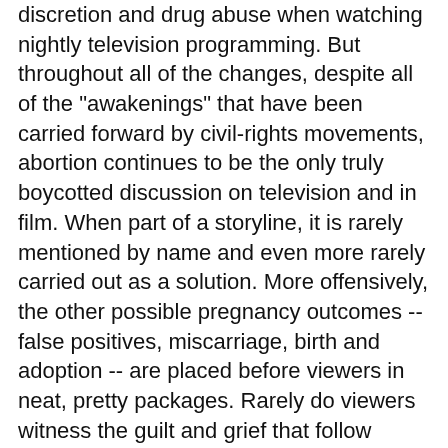discretion and drug abuse when watching nightly television programming. But throughout all of the changes, despite all of the "awakenings" that have been carried forward by civil-rights movements, abortion continues to be the only truly boycotted discussion on television and in film. When part of a storyline, it is rarely mentioned by name and even more rarely carried out as a solution. More offensively, the other possible pregnancy outcomes -- false positives, miscarriage, birth and adoption -- are placed before viewers in neat, pretty packages. Rarely do viewers witness the guilt and grief that follow miscarriage. I don't know of any television programs that have placed a woman in grief counseling after giving a child up for adoption (or had an abortion).
On television we can watch as our neighbors devour bugs and worms for money. We can see what happens when a person is asked to answer personal questions in front of friends and family while connected to a lie detector. We can peek in